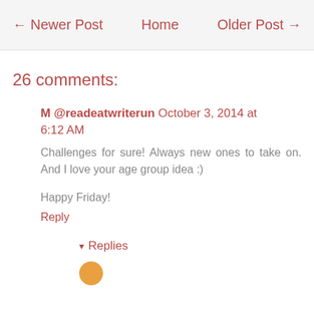← Newer Post   Home   Older Post →
26 comments:
M @readeatwriterun October 3, 2014 at 6:12 AM
Challenges for sure! Always new ones to take on. And I love your age group idea :)
Happy Friday!
Reply
▾ Replies